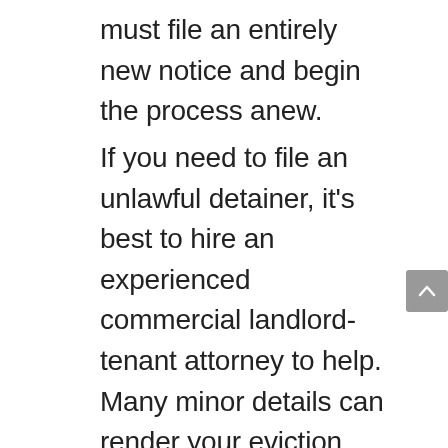must file an entirely new notice and begin the process anew.
If you need to file an unlawful detainer, it's best to hire an experienced commercial landlord-tenant attorney to help. Many minor details can render your eviction notice unlawful so I wouldn't suggest risking it. A landlord-tenant lawyer will review your lease or rent agreement, help you to decipher your landlord rights and advise you on the best course of action in the case that your tenants contest the eviction.